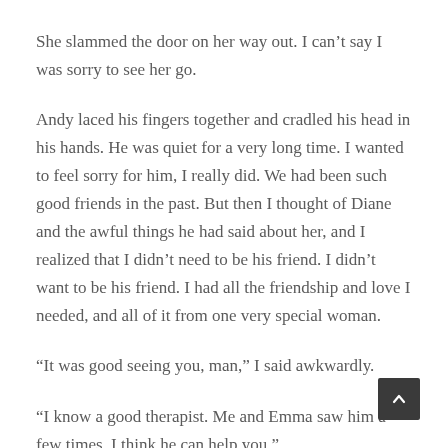She slammed the door on her way out. I can't say I was sorry to see her go.
Andy laced his fingers together and cradled his head in his hands. He was quiet for a very long time. I wanted to feel sorry for him, I really did. We had been such good friends in the past. But then I thought of Diane and the awful things he had said about her, and I realized that I didn't need to be his friend. I didn't want to be his friend. I had all the friendship and love I needed, and all of it from one very special woman.
“It was good seeing you, man,” I said awkwardly.
“I know a good therapist. Me and Emma saw him a few times. I think he can help you.”